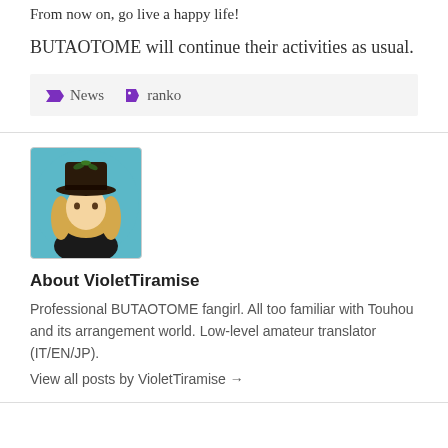From now on, go live a happy life!
BUTAOTOME will continue their activities as usual.
News  ranko
[Figure (illustration): Anime-style character avatar with a dark witch hat, blonde wavy hair, teal/blue circular background, dark outfit with red bow detail]
About VioletTiramise
Professional BUTAOTOME fangirl. All too familiar with Touhou and its arrangement world. Low-level amateur translator (IT/EN/JP).
View all posts by VioletTiramise →